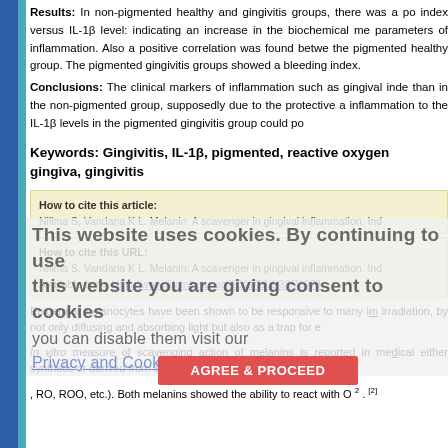Results: In non-pigmented healthy and gingivitis groups, there was a positive correlation between the gingival index versus IL-1β level: indicating an increase in the biochemical mediator with the parameters of inflammation. Also a positive correlation was found between... the pigmented healthy group. The pigmented gingivitis groups showed a... bleeding index.
Conclusions: The clinical markers of inflammation such as gingival index... than in the non-pigmented group, supposedly due to the protective a... inflammation to the IL-1β levels in the pigmented gingivitis group could po...
Keywords: Gingivitis, IL-1β, pigmented, reactive oxygen ..., gingiva, gingivitis
How to cite this article:
Nilima S, Vandana K L. Melanin: A scavenger in gingival inflammation. Ind...
How to cite this URL:
Nilima S, Vandana K L. Melanin: A scavenger in gingival inflammation. Ind...
Available from: https://www.ijdr.in/text.asp?2011/22/1/38/79973
Epidermal melanocytes have been shown to be responsive to many im irradiation, by not only diffusing and absorbing light but also as a trap for e
In vitro measure of scavenging action of melanins is reported in medical either synthetic or derived from a metastatic lung melanoma nodule, in ter
, RO, ROO, etc.). Both melanins showed the ability to react with O 2 . [2]